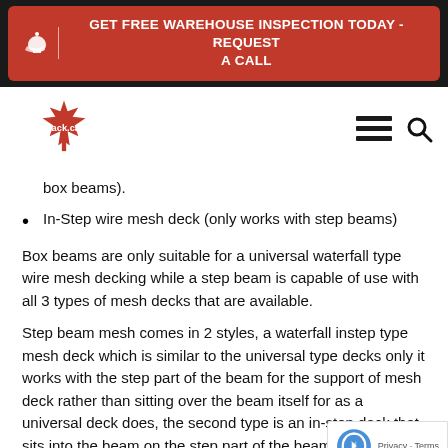GET FREE WAREHOUSE INSPECTION TODAY - REQUEST A CALL
[Figure (logo): rack.ca logo with Canadian maple leaf]
box beams).
In-Step wire mesh deck (only works with step beams)
Box beams are only suitable for a universal waterfall type wire mesh decking while a step beam is capable of use with all 3 types of mesh decks that are available.
Step beam mesh comes in 2 styles, a waterfall instep type mesh deck which is similar to the universal type decks only it works with the step part of the beam for the support of mesh deck rather than sitting over the beam itself for as a universal deck does, the second type is an in-step deck that sits into the beam on the step part of the beam